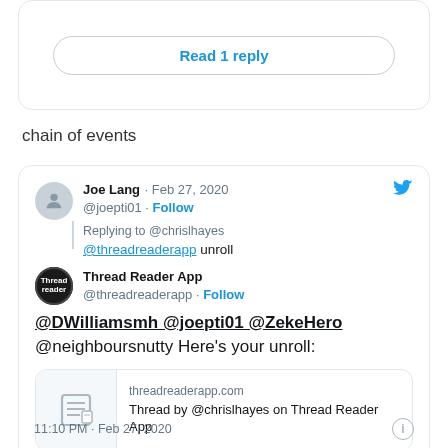Read 1 reply
chain of events
Joe Lang · Feb 27, 2020
@joepti01 · Follow
Replying to @chrislhayes
@threadreaderapp unroll
Thread Reader App
@threadreaderapp · Follow
@DWilliamsmh @joepti01 @ZekeHero @neighboursnutty Here's your unroll:
threadreaderapp.com
Thread by @chrislhayes on Thread Reader App
11:10 PM · Feb 27, 2020